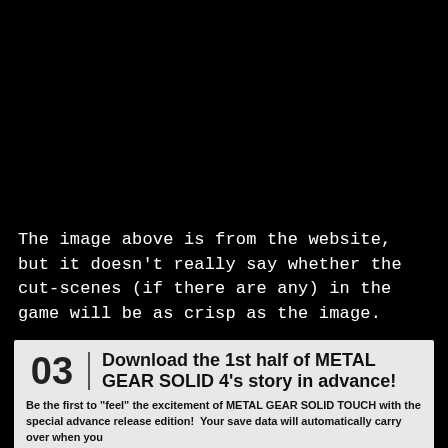[Figure (photo): Black image area at the top of the page, representing a screenshot from the Metal Gear Solid Touch website]
The image above is from the website, but it doesn't really say whether the cut-scenes (if there are any) in the game will be as crisp as the image.
03 | Download the 1st half of METAL GEAR SOLID 4's story in advance!
Be the first to "feel" the excitement of METAL GEAR SOLID TOUCH with the special advance release edition!  Your save data will automatically carry over when you update to the final release!
[Figure (screenshot): Two grayscale screenshot thumbnails from Metal Gear Solid Touch at the bottom of the promo box]